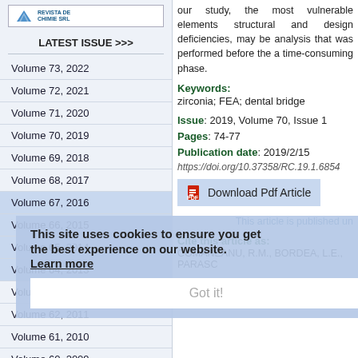[Figure (logo): Revista de Chimie SRL logo with blue triangle/mountain icon]
LATEST ISSUE >>>
Volume 73, 2022
Volume 72, 2021
Volume 71, 2020
Volume 70, 2019
Volume 69, 2018
Volume 68, 2017
Volume 67, 2016
Volume 66, 2015
Volume 65, 2014
Volume 64, 2013
Volume 63, 2012
Volume 62, 2011
Volume 61, 2010
Volume 60, 2009
our study, the most vulnerable elements structural and design deficiencies, may be analysis that was performed before the a time-consuming phase.
Keywords: zirconia; FEA; dental bridge
Issue: 2019, Volume 70, Issue 1
Pages: 74-77
Publication date: 2019/2/15
https://doi.org/10.37358/RC.19.1.6854
Download Pdf Article
This article is published un
Cite this article as:
COMANEANU, R.M., BORDEA, L.E., PARASC